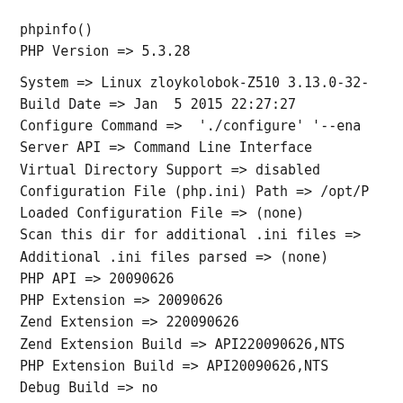phpinfo()
PHP Version => 5.3.28
System => Linux zloykolobok-Z510 3.13.0-32-
Build Date => Jan  5 2015 22:27:27
Configure Command =>  './configure' '--ena
Server API => Command Line Interface
Virtual Directory Support => disabled
Configuration File (php.ini) Path => /opt/P
Loaded Configuration File => (none)
Scan this dir for additional .ini files =>
Additional .ini files parsed => (none)
PHP API => 20090626
PHP Extension => 20090626
Zend Extension => 220090626
Zend Extension Build => API220090626,NTS
PHP Extension Build => API20090626,NTS
Debug Build => no